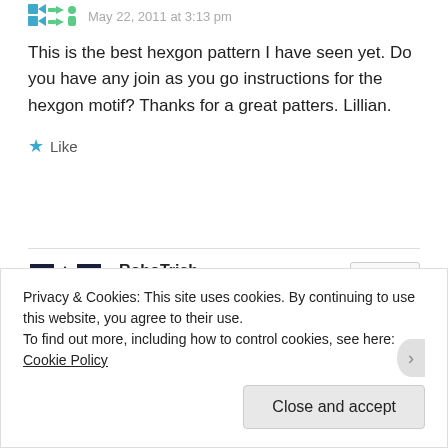[Figure (illustration): Teal/green pixel-style avatar icon with arrow/navigation symbols]
May 22, 2011 at 3:13 pm
This is the best hexgon pattern I have seen yet. Do you have any join as you go instructions for the hexgon motif? Thanks for a great patters. Lillian.
★ Like
[Figure (illustration): Black and white pixel/QR-code style avatar for RoboTrish]
RoboTrish
June 3, 2011 at 7:57 am
Reply
Lillian,
unfortunately I had not even thought of that! but it's a
Privacy & Cookies: This site uses cookies. By continuing to use this website, you agree to their use.
To find out more, including how to control cookies, see here: Cookie Policy
Close and accept